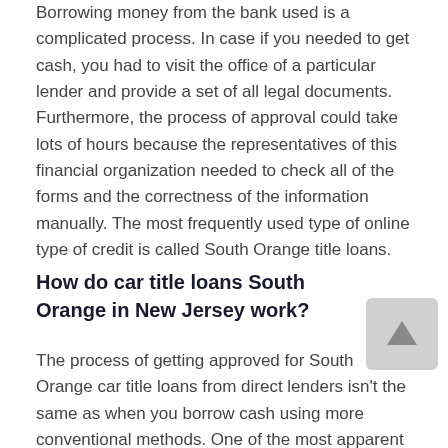Borrowing money from the bank used is a complicated process. In case if you needed to get cash, you had to visit the office of a particular lender and provide a set of all legal documents. Furthermore, the process of approval could take lots of hours because the representatives of this financial organization needed to check all of the forms and the correctness of the information manually. The most frequently used type of online type of credit is called South Orange title loans.
How do car title loans South Orange in New Jersey work?
The process of getting approved for South Orange car title loans from direct lenders isn't the same as when you borrow cash using more conventional methods. One of the most apparent differences between these two alternatives is the fact that with an online credit, you can get money via the website of the lender. The only activity you are